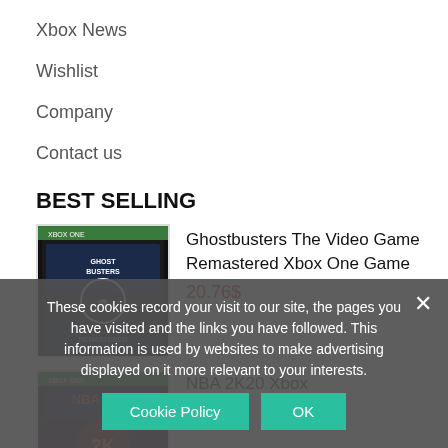Xbox News
Wishlist
Company
Contact us
BEST SELLING
Ghostbusters The Video Game Remastered Xbox One Game
20.76$
NBA 2K20 Xbox
18.46$
These cookies record your visit to our site, the pages you have visited and the links you have followed. This information is used by websites to make advertising displayed on it more relevant to your interests.
Cookie Policy
OK